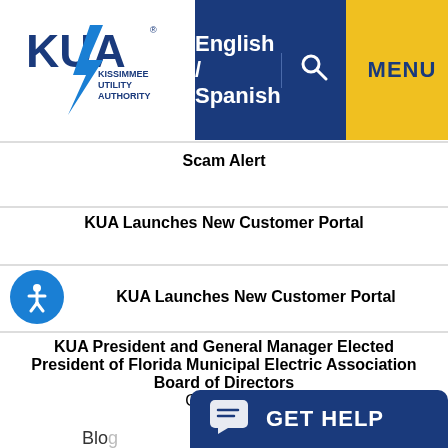[Figure (logo): KUA Kissimmee Utility Authority logo with lightning bolt]
English / Spanish
Scam Alert
KUA Launches New Customer Portal
KUA Launches New Customer Portal
KUA President and General Manager Elected President of Florida Municipal Electric Association Board of Directors
Categories
Blo
[Figure (other): GET HELP chat button widget]